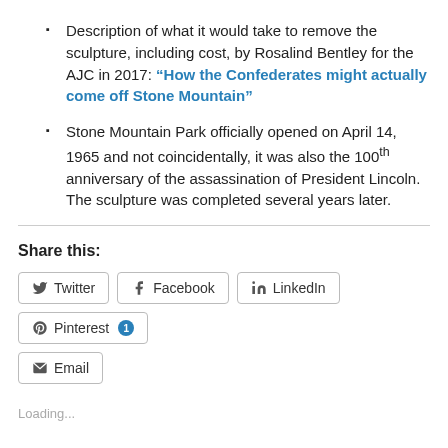Description of what it would take to remove the sculpture, including cost, by Rosalind Bentley for the AJC in 2017: "How the Confederates might actually come off Stone Mountain"
Stone Mountain Park officially opened on April 14, 1965 and not coincidentally, it was also the 100th anniversary of the assassination of President Lincoln. The sculpture was completed several years later.
Share this:
Twitter Facebook LinkedIn Pinterest 1 Email
Loading...